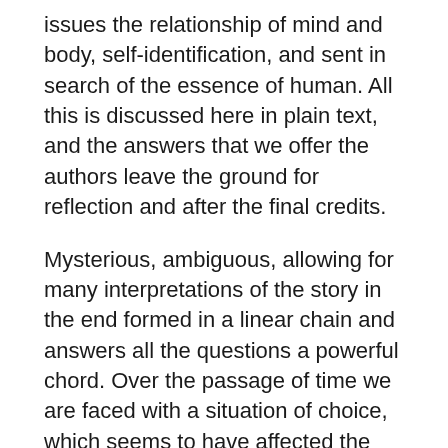issues the relationship of mind and body, self-identification, and sent in search of the essence of human. All this is discussed here in plain text, and the answers that we offer the authors leave the ground for reflection and after the final credits.
Mysterious, ambiguous, allowing for many interpretations of the story in the end formed in a linear chain and answers all the questions a powerful chord. Over the passage of time we are faced with a situation of choice, which seems to have affected the outcome of the trip. However, this does not happen: the ending of the game alone, and all the decisions we do not have any significance for the development of the plot.
This may disappoint some, but on the other hand, perhaps it is such and has been the author's intention. Games finals can not be called explicitly